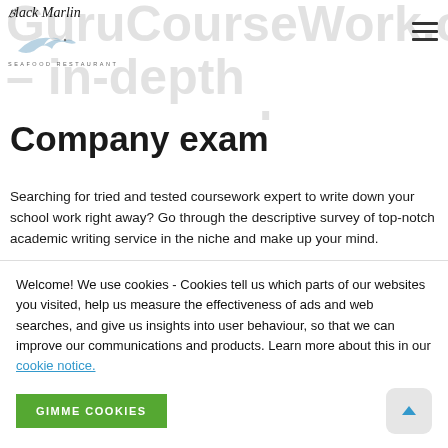GuruCourseWork.com – in-depth coursework Writing Company exam
Company exam
Searching for tried and tested coursework expert to write down your school work right away? Go through the descriptive survey of top-notch academic writing service in the niche and make up your mind.
Writing websites the same as GuruCourseWork.com are irreplecable aid for students who are searching for urgent and comprehensive support with fastidious academic writing. As concerns GuruCourseWork.com, it has been providing competent writing aid
Welcome! We use cookies - Cookies tell us which parts of our websites you visited, help us measure the effectiveness of ads and web searches, and give us insights into user behaviour, so that we can improve our communications and products. Learn more about this in our cookie notice.
GIMME COOKIES